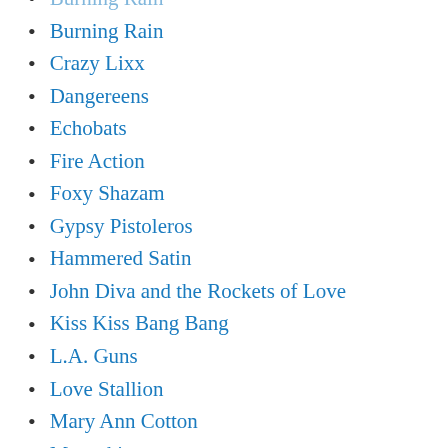Burning Rain
Crazy Lixx
Dangereens
Echobats
Fire Action
Foxy Shazam
Gypsy Pistoleros
Hammered Satin
John Diva and the Rockets of Love
Kiss Kiss Bang Bang
L.A. Guns
Love Stallion
Mary Ann Cotton
Moneskin
Neon Animal
Rich Kid Express